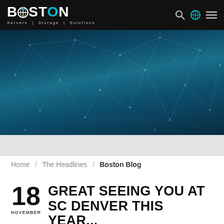BOSTON Servers | Storage | Solutions
[Figure (illustration): Dark teal hero banner with geometric network/polygon line pattern connecting dots across the background]
Home / The Headlines / Boston Blog
18 NOVEMBER — GREAT SEEING YOU AT SC DENVER THIS YEAR...